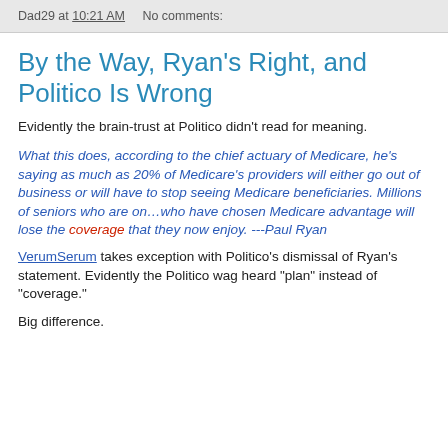Dad29 at 10:21 AM    No comments:
By the Way, Ryan's Right, and Politico Is Wrong
Evidently the brain-trust at Politico didn't read for meaning.
What this does, according to the chief actuary of Medicare, he's saying as much as 20% of Medicare's providers will either go out of business or will have to stop seeing Medicare beneficiaries. Millions of seniors who are on…who have chosen Medicare advantage will lose the coverage that they now enjoy. ---Paul Ryan
VerumSerum takes exception with Politico's dismissal of Ryan's statement. Evidently the Politico wag heard "plan" instead of "coverage."
Big difference.